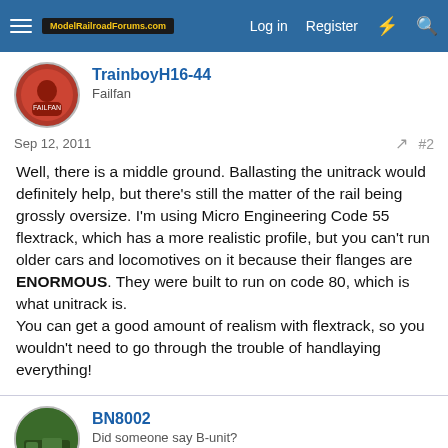ModelRailroadForums.com | Log in | Register
TrainboyH16-44
Failfan
Sep 12, 2011
Well, there is a middle ground. Ballasting the unitrack would definitely help, but there's still the matter of the rail being grossly oversize. I'm using Micro Engineering Code 55 flextrack, which has a more realistic profile, but you can't run older cars and locomotives on it because their flanges are ENORMOUS. They were built to run on code 80, which is what unitrack is.
You can get a good amount of realism with flextrack, so you wouldn't need to go through the trouble of handlaying everything!
BN8002
Did someone say B-unit?